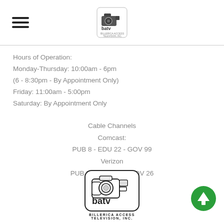[Figure (logo): BATV (Billerica Access Television Inc.) logo at top center, small version with camera image and text]
Hours of Operation:
Monday-Thursday: 10:00am - 6pm
(6 - 8:30pm - By Appointment Only)
Friday: 11:00am - 5:00pm
Saturday: By Appointment Only
Cable Channels
Comcast:
PUB 8 - EDU 22 - GOV 99
Verizon
PUB 31 - EDU 24 - GOV 26
[Figure (logo): BATV Billerica Access Television Inc. logo — large camera icon inside rounded rectangle with text below reading BILLERICA ACCESS TELEVISION, INC.]